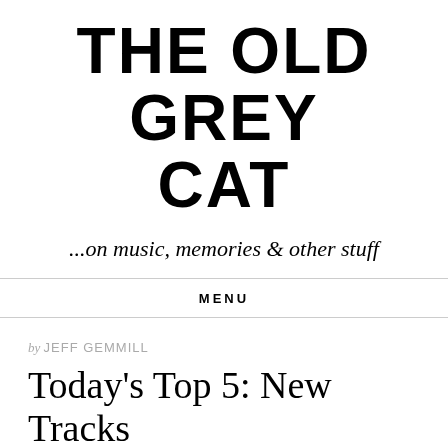THE OLD GREY CAT
...on music, memories & other stuff
MENU
by JEFF GEMMILL
Today’s Top 5: New Tracks & Videos